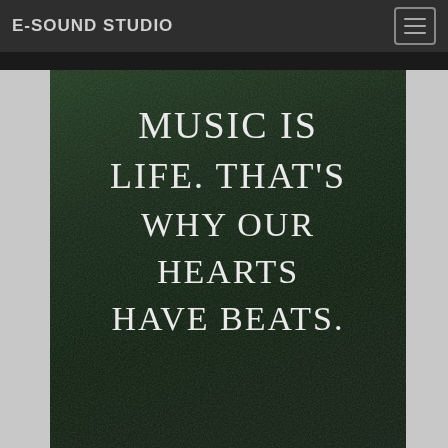E-SOUND STUDIO
[Figure (illustration): Dark green textured book cover with white small-caps text reading: Music is life. That’s why our hearts have beats.]